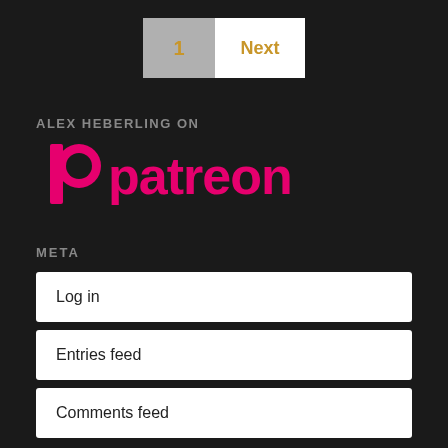1  Next
ALEX HEBERLING ON
[Figure (logo): Patreon logo in pink/magenta with the Patreon P icon and the word 'patreon']
META
Log in
Entries feed
Comments feed